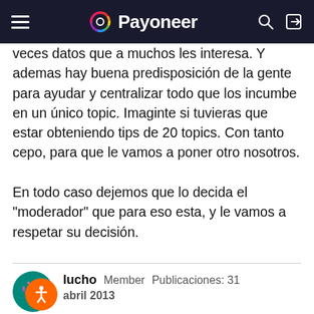Payoneer
veces datos que a muchos les interesa. Y ademas hay buena predisposición de la gente para ayudar y centralizar todo que los incumbe en un único topic. Imaginte si tuvieras que estar obteniendo tips de 20 topics. Con tanto cepo, para que le vamos a poner otro nosotros.
En todo caso dejemos que lo decida el "moderador" que para eso esta, y le vamos a respetar su decisión.
lucho  Member  Publicaciones: 31
abril 2013
Alguna alternativa a paypal que me recomiendan y